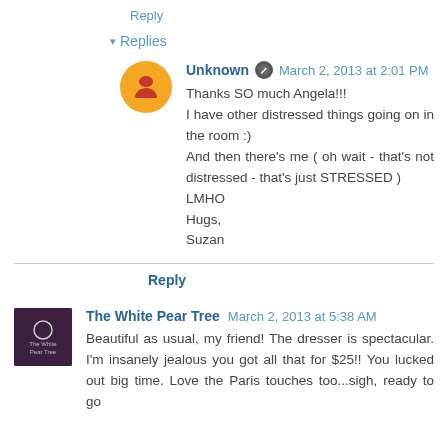Reply
▾ Replies
Unknown ✎ March 2, 2013 at 2:01 PM
Thanks SO much Angela!!!
I have other distressed things going on in the room :)
And then there's me ( oh wait - that's not distressed - that's just STRESSED )
LMHO
Hugs,
Suzan
Reply
The White Pear Tree March 2, 2013 at 5:38 AM
Beautiful as usual, my friend! The dresser is spectacular. I'm insanely jealous you got all that for $25!! You lucked out big time. Love the Paris touches too...sigh, ready to go